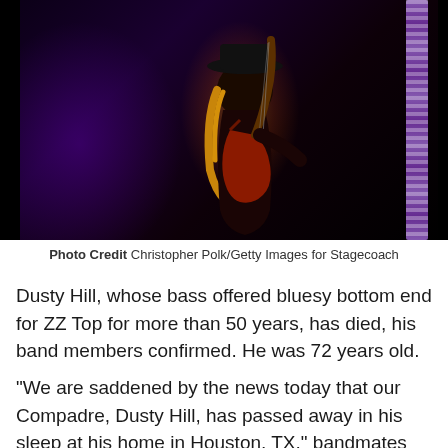[Figure (photo): Concert photo of a musician (Dusty Hill) playing bass guitar on a dark stage with purple/blue lighting, wearing a hat, with a decorative microphone stand visible on the right side.]
Photo Credit Christopher Polk/Getty Images for Stagecoach
Dusty Hill, whose bass offered bluesy bottom end for ZZ Top for more than 50 years, has died, his band members confirmed. He was 72 years old.
"We are saddened by the news today that our Compadre, Dusty Hill, has passed away in his sleep at his home in Houston, TX," bandmates Billy F. Gibbons and Frank Beard wrote in a statement. "We, along with legions of ZZ Top